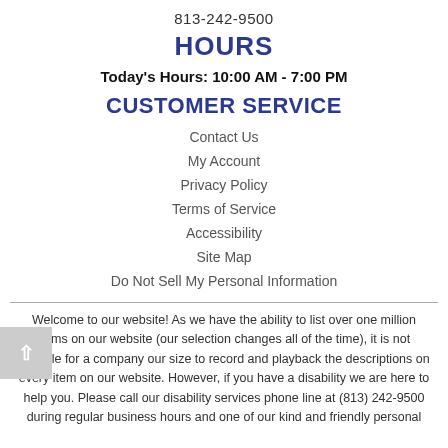813-242-9500
HOURS
Today's Hours: 10:00 AM - 7:00 PM
CUSTOMER SERVICE
Contact Us
My Account
Privacy Policy
Terms of Service
Accessibility
Site Map
Do Not Sell My Personal Information
Welcome to our website! As we have the ability to list over one million items on our website (our selection changes all of the time), it is not feasible for a company our size to record and playback the descriptions on every item on our website. However, if you have a disability we are here to help you. Please call our disability services phone line at (813) 242-9500 during regular business hours and one of our kind and friendly personal